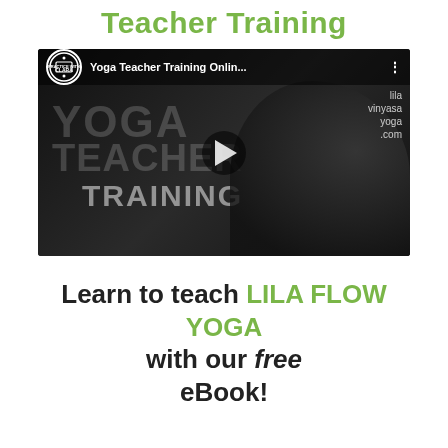Teacher Training
[Figure (screenshot): YouTube video thumbnail showing 'Yoga Teacher Training Onlin...' with Practice with Clara logo, a woman in prayer pose, and overlaid text YOGA TEACHER TRAINING. Play button visible in center. Brand text 'lila vinyasa yoga.com' in top right.]
Learn to teach LILA FLOW YOGA with our free eBook!